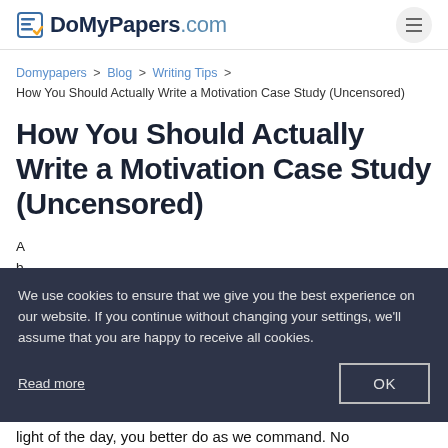DoMyPapers.com
Domypapers > Blog > Writing Tips > How You Should Actually Write a Motivation Case Study (Uncensored)
How You Should Actually Write a Motivation Case Study (Uncensored)
We use cookies to ensure that we give you the best experience on our website. If you continue without changing your settings, we'll assume that you are happy to receive all cookies.
Read more
light of the day, you better do as we command. No